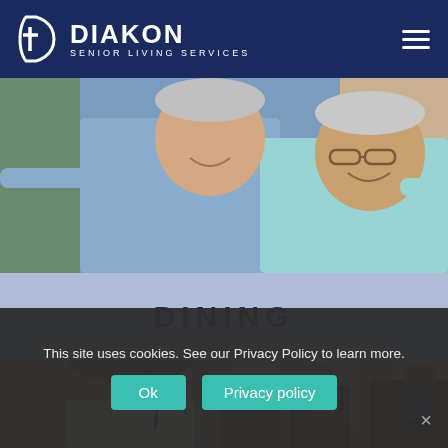[Figure (logo): Diakon Senior Living Services logo — white cross/D icon with DIAKON in large white letters and SENIOR LIVING SERVICES below, on dark navy background]
[Figure (photo): Two smiling elderly people outdoors, man in plaid shirt with arms wide open, woman with glasses in light blue top]
DINING
[Figure (photo): A young woman with braided hair in a dining hall setting, other people seated in background]
This site uses cookies. See our Privacy Policy to learn more.
Ok
Privacy policy